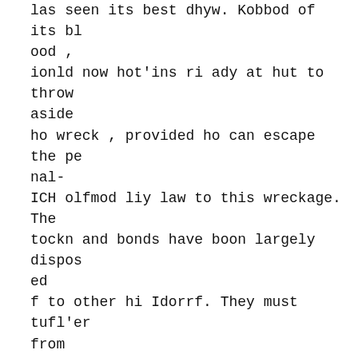las seen its best dhyw. Kobbod of its blood ,
ionld now hot'ins ri ady at hut to throw aside
ho wreck , provided ho can escape the penal-
ICH olfmod liy law to this wreckage. The tockn and bonds have boon largely disposed
f to other hi Idorrf. They must tufl'er from
hrinkngn , whkh ha.s reduced the stock to ono *
liinl of itH fnrnier value. Through all tblu
lot tha govornmtnt with the law on it ) Hide
is been put nlf nnd scorned by nretexU HO
Imsy that tboy must have been tmdoistoo